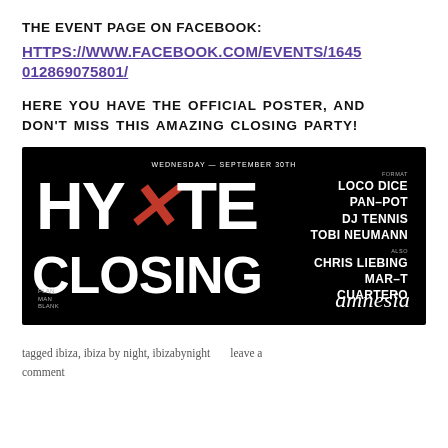THE EVENT PAGE ON FACEBOOK:
HTTPS://WWW.FACEBOOK.COM/EVENTS/1645012869075801/
HERE YOU HAVE THE OFFICIAL POSTER, AND DON’T MISS THIS AMAZING CLOSING PARTY!
[Figure (illustration): Black poster for HYTE Closing party at Amnesia, Wednesday September 30th. Artists: Loco Dice, Pan-Pot, DJ Tennis, Tobi Neumann, Chris Liebing, Mar-T, Cuartero. Amnesia logo at bottom right.]
tagged ibiza, ibiza by night, ibizabynight     leave a comment